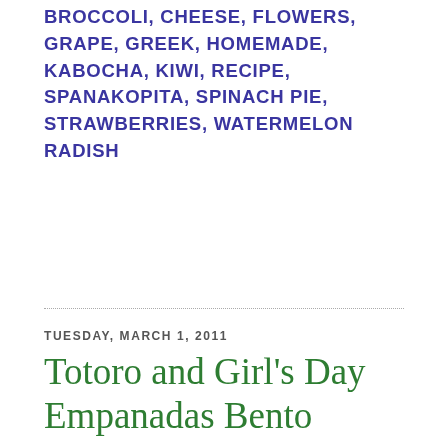BROCCOLI, CHEESE, FLOWERS, GRAPE, GREEK, HOMEMADE, KABOCHA, KIWI, RECIPE, SPANAKOPITA, SPINACH PIE, STRAWBERRIES, WATERMELON RADISH
TUESDAY, MARCH 1, 2011
Totoro and Girl's Day Empanadas Bento
[Figure (photo): Photo of a bento box featuring what appears to be a Totoro-shaped empanada on a round wooden plate, with a pineapple piece on top and decorative red dots, set against a bamboo-leaf patterned background]